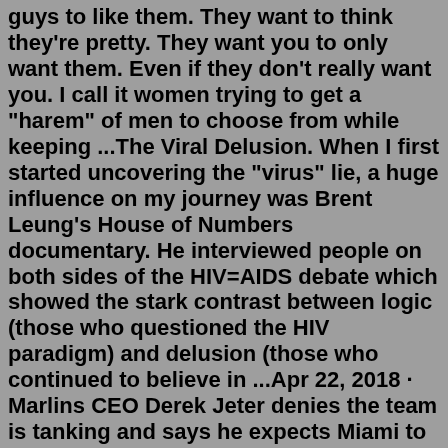guys to like them. They want to think they're pretty. They want you to only want them. Even if they don't really want you. I call it women trying to get a "harem" of men to choose from while keeping ...The Viral Delusion. When I first started uncovering the "virus" lie, a huge influence on my journey was Brent Leung's House of Numbers documentary. He interviewed people on both sides of the HIV=AIDS debate which showed the stark contrast between logic (those who questioned the HIV paradigm) and delusion (those who continued to believe in ...Apr 22, 2018 · Marlins CEO Derek Jeter denies the team is tanking and says he expects Miami to contend during an interview on HBO's 'Real Sports with Bryant Gumbel.' Your inbox approves Opening Day payrolls ... "He got offended and called me delusional and walked out." stories.wimp.com She Reported a Therapist for Giving Her Ex-Husband Information About the Sessions. Is She Wrong? I don't know all the laws when it comes to kids going to therapy, but I would think that stuff is supposed to be private,